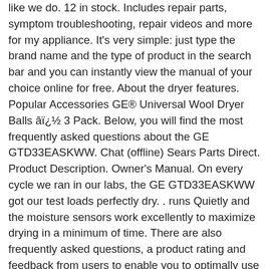like we do. 12 in stock. Includes repair parts, symptom troubleshooting, repair videos and more for my appliance. It's very simple: just type the brand name and the type of product in the search bar and you can instantly view the manual of your choice online for free. About the dryer features. Popular Accessories GE® Universal Wool Dryer Balls â 3 Pack. Below, you will find the most frequently asked questions about the GE GTD33EASKWW. Chat (offline) Sears Parts Direct. Product Description. Owner's Manual. On every cycle we ran in our labs, the GE GTD33EASKWW got our test loads perfectly dry. . runs Quietly and the moisture sensors work excellently to maximize drying in a minimum of time. There are also frequently asked questions, a product rating and feedback from users to enable you to optimally use your product. Product Specifications. GE® GTD33EASKWW 7.2 cu. To access the thermal fuse you will need to open the dryer from the top. Ownership and support information for GTD33EASKWW | GE® 7.2 cu. GTX33EASKWW 27 Electric Dryer With 6.2 cu. Need a manual for your GE GTD33GASKWW Dryer? WX02X30937 $ 9.99 CERAMA